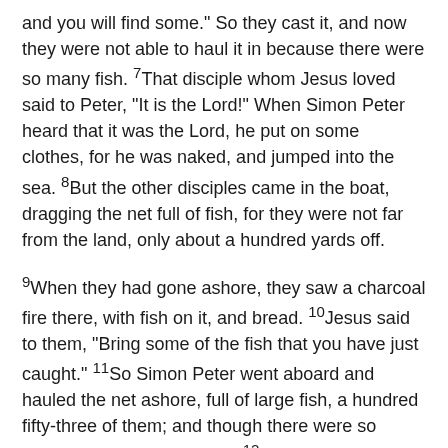and you will find some." So they cast it, and now they were not able to haul it in because there were so many fish. 7That disciple whom Jesus loved said to Peter, "It is the Lord!" When Simon Peter heard that it was the Lord, he put on some clothes, for he was naked, and jumped into the sea. 8But the other disciples came in the boat, dragging the net full of fish, for they were not far from the land, only about a hundred yards off.
9When they had gone ashore, they saw a charcoal fire there, with fish on it, and bread. 10Jesus said to them, "Bring some of the fish that you have just caught." 11So Simon Peter went aboard and hauled the net ashore, full of large fish, a hundred fifty-three of them; and though there were so many, the net was not torn. 12Jesus said to them, "Come and have breakfast." Now none of the disciples dared to ask him, "Who are you?" because they knew it was the Lord. 13Jesus came and took the bread and gave it to them, and did the same with the fish. 14This was now the third time that Jesus appeared to the disciples after he was raised from the dead.